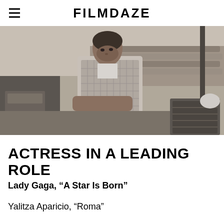FILMDAZE
[Figure (photo): Black and white film still of a woman in a checkered apron leaning over a surface, with a laundry basket visible. Outdoor scene with tiled rooftops in the background. From the film Roma.]
ACTRESS IN A LEADING ROLE
Lady Gaga, “A Star Is Born”
Yalitza Aparicio, “Roma”